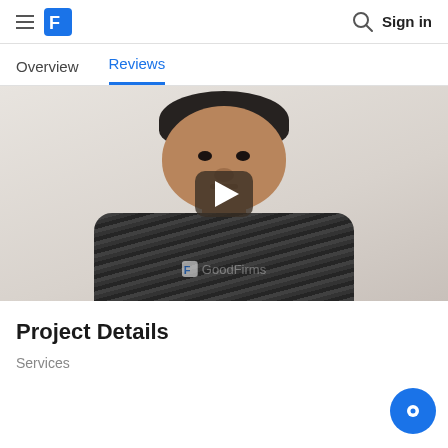GoodFirms — hamburger menu, logo, search icon, Sign in
Overview | Reviews (active tab)
[Figure (screenshot): Video thumbnail showing a man in a patterned shirt against a light background, with a play button overlay and GoodFirms watermark]
Project Details
Services